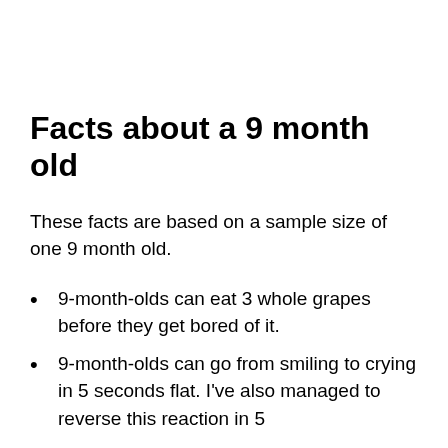Facts about a 9 month old
These facts are based on a sample size of one 9 month old.
9-month-olds can eat 3 whole grapes before they get bored of it.
9-month-olds can go from smiling to crying in 5 seconds flat. I've also managed to reverse this reaction in 5